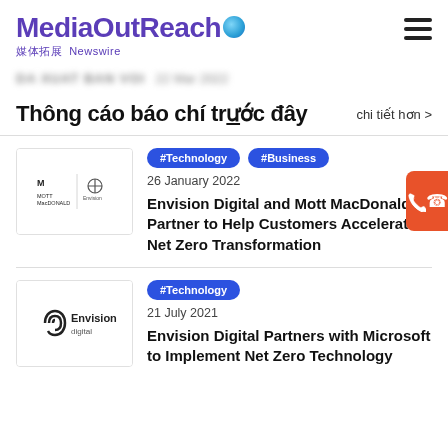MediaOutReach 媒体拓展 Newswire
Thông cáo báo chí trước đây
chi tiết hơn >
#Technology  #Business  26 January 2022
Envision Digital and Mott MacDonald Partner to Help Customers Accelerate Net Zero Transformation
#Technology  21 July 2021
Envision Digital Partners with Microsoft to Implement Net Zero Technology